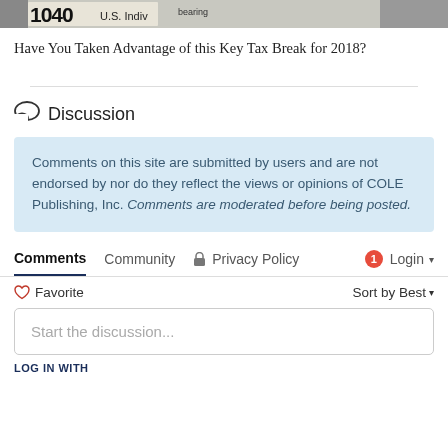[Figure (photo): Cropped top portion of a 1040 U.S. Individual tax form document]
Have You Taken Advantage of this Key Tax Break for 2018?
Discussion
Comments on this site are submitted by users and are not endorsed by nor do they reflect the views or opinions of COLE Publishing, Inc. Comments are moderated before being posted.
Comments   Community   Privacy Policy   1   Login
Favorite   Sort by Best
Start the discussion...
LOG IN WITH